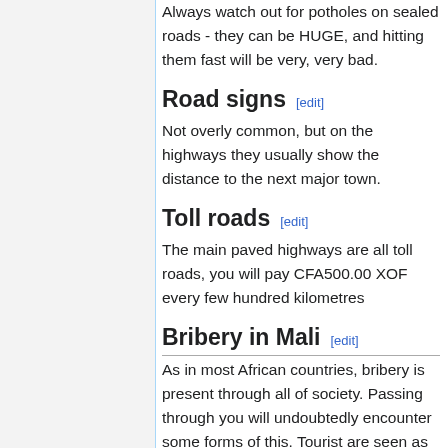Always watch out for potholes on sealed roads - they can be HUGE, and hitting them fast will be very, very bad.
Road signs [edit]
Not overly common, but on the highways they usually show the distance to the next major town.
Toll roads [edit]
The main paved highways are all toll roads, you will pay CFA500.00 XOF every few hundred kilometres
Bribery in Mali [edit]
As in most African countries, bribery is present through all of society. Passing through you will undoubtedly encounter some forms of this. Tourist are seen as a good target since most Maliens consider any foreigner as rich. As a tourist you will mostly encounter this with police checks